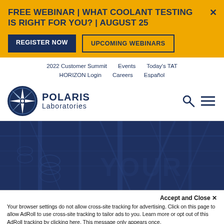FREE WEBINAR | WHAT COOLANT TESTING IS RIGHT FOR YOU? | AUGUST 25
REGISTER NOW
UPCOMING WEBINARS
2022 Customer Summit   Events   Today's TAT
HORIZON Login   Careers   Español
[Figure (logo): Polaris Laboratories logo with compass star icon and text POLARIS Laboratories]
[Figure (photo): Dark blue tinted industrial/electrical equipment machinery background hero image]
Accept and Close ✕
Your browser settings do not allow cross-site tracking for advertising. Click on this page to allow AdRoll to use cross-site tracking to tailor ads to you. Learn more or opt out of this AdRoll tracking by clicking here. This message only appears once.